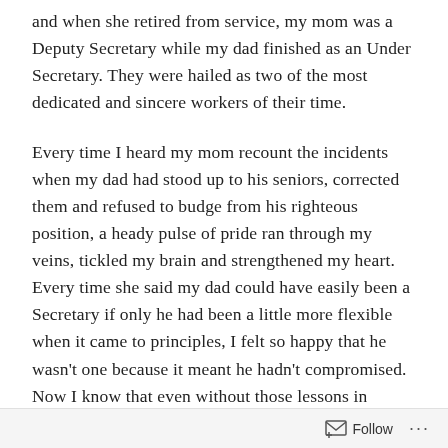and when she retired from service, my mom was a Deputy Secretary while my dad finished as an Under Secretary. They were hailed as two of the most dedicated and sincere workers of their time.
Every time I heard my mom recount the incidents when my dad had stood up to his seniors, corrected them and refused to budge from his righteous position, a heady pulse of pride ran through my veins, tickled my brain and strengthened my heart. Every time she said my dad could have easily been a Secretary if only he had been a little more flexible when it came to principles, I felt so happy that he wasn't one because it meant he hadn't compromised. Now I know that even without those lessons in integrity in my moral science classes, I would have done just fine.
My parents live in a...
Follow ···